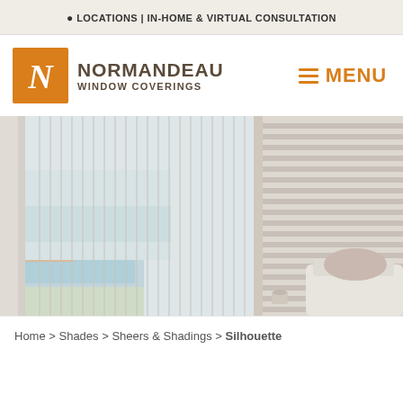LOCATIONS | IN-HOME & VIRTUAL CONSULTATION
[Figure (logo): Normandeau Window Coverings logo with orange N icon and company name]
[Figure (photo): Interior room with sheer vertical blinds/silhouette shades on large windows overlooking a pool and outdoor area, with a white chair in the foreground]
Home > Shades > Sheers & Shadings > Silhouette